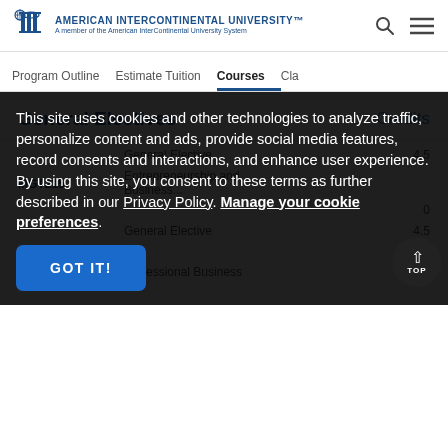American InterContinental University — A member of the American InterContinental University System
Program Outline | Estimate Tuition | Courses | Cla...
General Electives | Credits
| Course | Description | Credits |
| --- | --- | --- |
|  | General Elective | 4.5 |
| MGT215 | Entrepreneurship and Business... |  |
|  |  | 0 |
|  | General Elective | 4.5 |
|  | or |  |
| MGMT350 | Professional Business... | 4.5 |
This site uses cookies and other technologies to analyze traffic, personalize content and ads, provide social media features, record consents and interactions, and enhance user experience. By using this site, you consent to these terms as further described in our Privacy Policy. Manage your cookie preferences.
GOT IT!